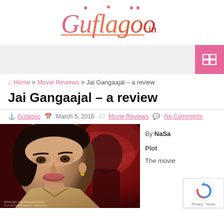[Figure (logo): Guflagoo.in logo in orange-pink gradient script font]
Navigation bar with grid/menu icon button in pink
Home > Movie Reviews > Jai Gangaajal – a review
Jai Gangaajal – a review
Gutagoo  March 5, 2016  Movie Reviews  No Comments
[Figure (photo): Movie poster for Jai Gangaajal showing a woman's face in foreground and a dark red background with another figure]
By NaSa
Plot
The movie